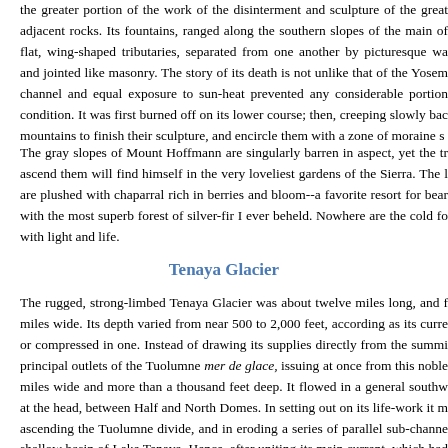the greater portion of the work of the disinterment and sculpture of the great adjacent rocks. Its fountains, ranged along the southern slopes of the main of flat, wing-shaped tributaries, separated from one another by picturesque wa and jointed like masonry. The story of its death is not unlike that of the Yosem channel and equal exposure to sun-heat prevented any considerable portion condition. It was first burned off on its lower course; then, creeping slowly bac mountains to finish their sculpture, and encircle them with a zone of moraine s
The gray slopes of Mount Hoffmann are singularly barren in aspect, yet the tr ascend them will find himself in the very loveliest gardens of the Sierra. The l are plushed with chaparral rich in berries and bloom--a favorite resort for bear with the most superb forest of silver-fir I ever beheld. Nowhere are the cold fo with light and life.
Tenaya Glacier
The rugged, strong-limbed Tenaya Glacier was about twelve miles long, and f miles wide. Its depth varied from near 500 to 2,000 feet, according as its curre or compressed in one. Instead of drawing its supplies directly from the summi principal outlets of the Tuolumne mer de glace, issuing at once from this noble miles wide and more than a thousand feet deep. It flowed in a general southw at the head, between Half and North Domes. In setting out on its life-work it m ascending the Tuolumne divide, and in eroding a series of parallel sub-channe shallow basin of Lake Tenaya. Hence, after uniting its main current, which had crossing the divide, and receiving a swift-flowing affluent from the fountains of with renewed vigor, pouring its massive floods over the southwestern rim of th cascades; then, crushing heavily against the ridge of Clouds Rest, curved tow focalized its wavering currents, and bore down upon Yosemite with its whole c end of the ice-period, and while the upper tributaries of its Hoffmann companio coming forests, the whole body of Tenaya became torpid, withering simultane